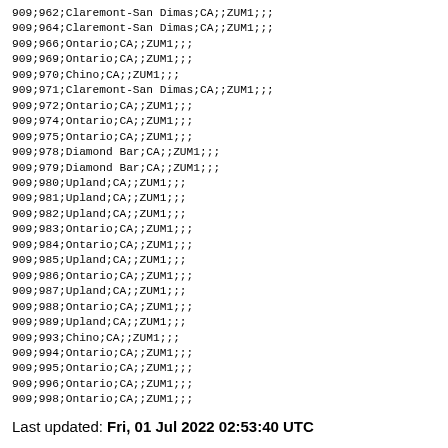909;962;Claremont-San Dimas;CA;;ZUM1;;;
909;964;Claremont-San Dimas;CA;;ZUM1;;;
909;966;Ontario;CA;;ZUM1;;;
909;969;Ontario;CA;;ZUM1;;;
909;970;Chino;CA;;ZUM1;;;
909;971;Claremont-San Dimas;CA;;ZUM1;;;
909;972;Ontario;CA;;ZUM1;;;
909;974;Ontario;CA;;ZUM1;;;
909;975;Ontario;CA;;ZUM1;;;
909;978;Diamond Bar;CA;;ZUM1;;;
909;979;Diamond Bar;CA;;ZUM1;;;
909;980;Upland;CA;;ZUM1;;;
909;981;Upland;CA;;ZUM1;;;
909;982;Upland;CA;;ZUM1;;;
909;983;Ontario;CA;;ZUM1;;;
909;984;Ontario;CA;;ZUM1;;;
909;985;Upland;CA;;ZUM1;;;
909;986;Ontario;CA;;ZUM1;;;
909;987;Upland;CA;;ZUM1;;;
909;988;Ontario;CA;;ZUM1;;;
909;989;Upland;CA;;ZUM1;;;
909;993;Chino;CA;;ZUM1;;;
909;994;Ontario;CA;;ZUM1;;;
909;995;Ontario;CA;;ZUM1;;;
909;996;Ontario;CA;;ZUM1;;;
909;998;Ontario;CA;;ZUM1;;;
Last updated: Fri, 01 Jul 2022 02:53:40 UTC